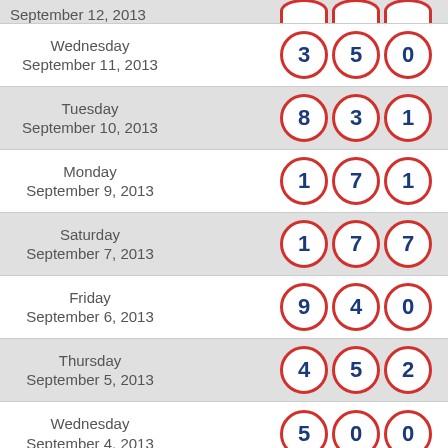| Date | Numbers |
| --- | --- |
| Wednesday September 11, 2013 | 3 5 0 |
| Tuesday September 10, 2013 | 8 3 1 |
| Monday September 9, 2013 | 1 7 1 |
| Saturday September 7, 2013 | 1 7 7 |
| Friday September 6, 2013 | 9 4 0 |
| Thursday September 5, 2013 | 4 5 2 |
| Wednesday September 4, 2013 | 5 0 0 |